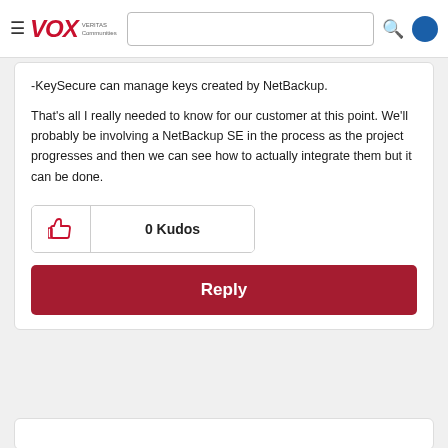VOX VERITAS Communities
-KeySecure can manage keys created by NetBackup.
That's all I really needed to know for our customer at this point. We'll probably be involving a NetBackup SE in the process as the project progresses and then we can see how to actually integrate them but it can be done.
0 Kudos
Reply